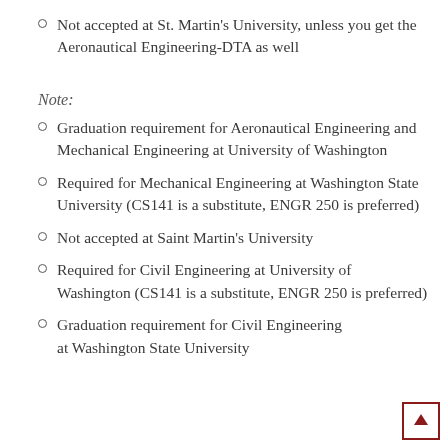Not accepted at St. Martin's University, unless you get the Aeronautical Engineering-DTA as well
Note:
Graduation requirement for Aeronautical Engineering and Mechanical Engineering at University of Washington
Required for Mechanical Engineering at Washington State University (CS141 is a substitute, ENGR 250 is preferred)
Not accepted at Saint Martin's University
Required for Civil Engineering at University of Washington (CS141 is a substitute, ENGR 250 is preferred)
Graduation requirement for Civil Engineering at Washington State University